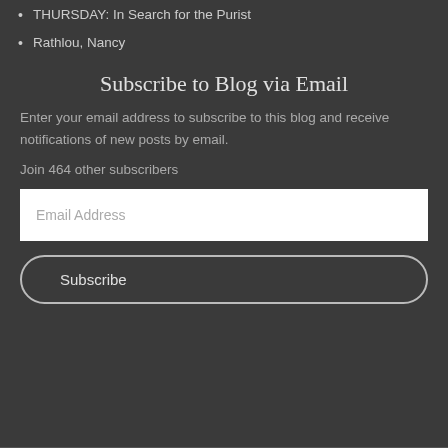THURSDAY: In Search for the Purist
Rathlou, Nancy
Subscribe to Blog via Email
Enter your email address to subscribe to this blog and receive notifications of new posts by email.
Join 464 other subscribers
Email Address
Subscribe